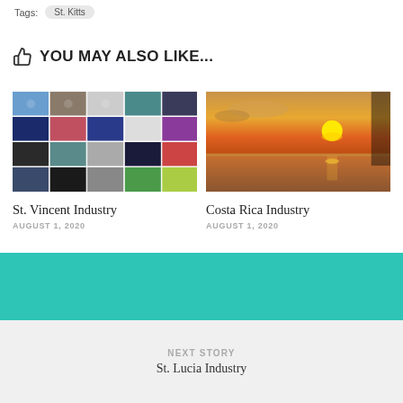Tags: St. Kitts
YOU MAY ALSO LIKE...
[Figure (photo): Collage of musician/artist photos grid]
St. Vincent Industry
AUGUST 1, 2020
[Figure (photo): Sunset over the ocean with golden light]
Costa Rica Industry
AUGUST 1, 2020
NEXT STORY
St. Lucia Industry